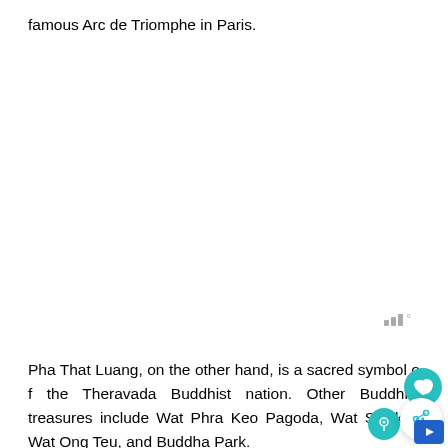famous Arc de Triomphe in Paris.
Pha That Luang, on the other hand, is a sacred symbol of the Theravada Buddhist nation. Other Buddhist treasures include Wat Phra Keo Pagoda, Wat Sisaket, Wat Ong Teu, and Buddha Park.